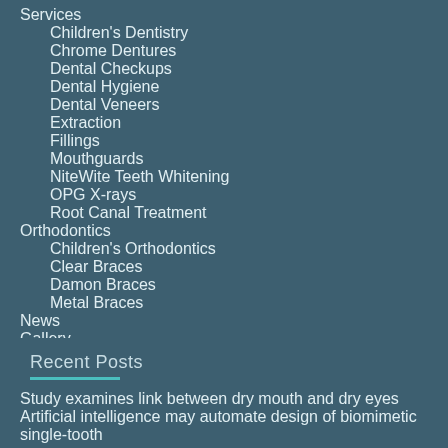Services
Children's Dentistry
Chrome Dentures
Dental Checkups
Dental Hygiene
Dental Veneers
Extraction
Fillings
Mouthguards
NiteWite Teeth Whitening
OPG X-rays
Root Canal Treatment
Orthodontics
Children's Orthodontics
Clear Braces
Damon Braces
Metal Braces
News
Gallery
Fees
Testimonials
Contact
Recent Posts
Study examines link between dry mouth and dry eyes
Artificial intelligence may automate design of biomimetic single-tooth